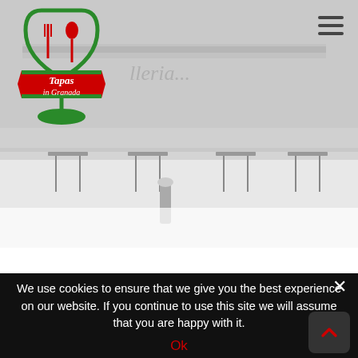[Figure (photo): Outdoor terrace of a bar/restaurant with tables and chairs, grey washed-out tones, street setting in Granada]
[Figure (logo): Tapas in Granada logo: green wine glass outline with red fork and spoon inside, red banner reading 'Tapas in Granada' with green decorative accents, green wine glass stem below]
La Botilleria
August 30, 2017 in Blog tagged bar / Granada / La Bottliera / realejo by Irenita
We use cookies to ensure that we give you the best experience on our website. If you continue to use this site we will assume that you are happy with it.
Ok